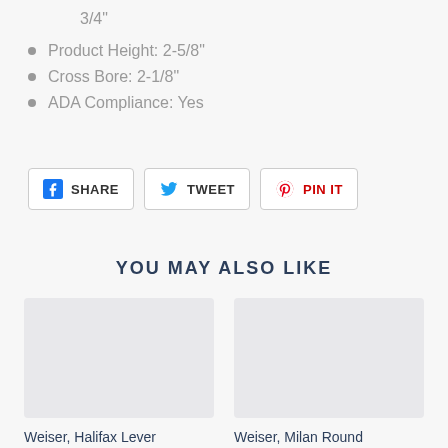3/4"
Product Height: 2-5/8"
Cross Bore: 2-1/8"
ADA Compliance: Yes
SHARE  TWEET  PIN IT
YOU MAY ALSO LIKE
[Figure (photo): Product image placeholder for Weiser Halifax Lever Handle]
Weiser, Halifax Lever Handle...
[Figure (photo): Product image placeholder for Weiser Milan Round Rose Lever Handles]
Weiser, Milan Round Rose Lever Handles